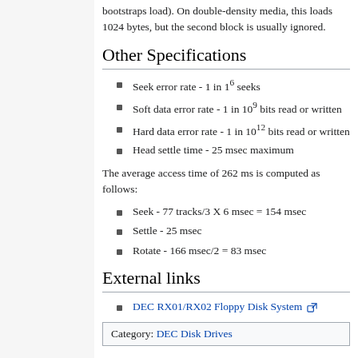bootstraps load). On double-density media, this loads 1024 bytes, but the second block is usually ignored.
Other Specifications
Seek error rate - 1 in 1^6 seeks
Soft data error rate - 1 in 10^9 bits read or written
Hard data error rate - 1 in 10^12 bits read or written
Head settle time - 25 msec maximum
The average access time of 262 ms is computed as follows:
Seek - 77 tracks/3 X 6 msec = 154 msec
Settle - 25 msec
Rotate - 166 msec/2 = 83 msec
External links
DEC RX01/RX02 Floppy Disk System
Category: DEC Disk Drives